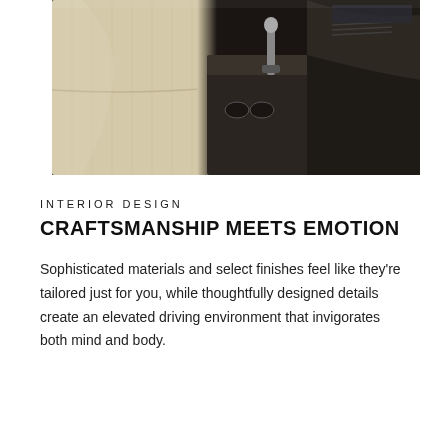[Figure (photo): Car interior showing cream/beige leather seats, center console with gear shifter, and dark dashboard elements]
INTERIOR DESIGN
CRAFTSMANSHIP MEETS EMOTION
Sophisticated materials and select finishes feel like they're tailored just for you, while thoughtfully designed details create an elevated driving environment that invigorates both mind and body.